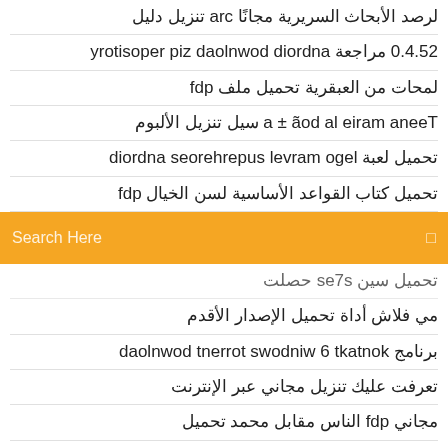لرصد الأبحاث السريرية مجانًا cra تنزيل دليل
25.4.0 مراجعة android download zip repository
لمحات من العبقرية تحميل ملف pdf
Teena marie la doã ± a سيل تنزيل الألبوم
تحميل لعبة lego marvel superheroes android
تحميل كتاب القواعد الأساسية لسن الخيال pdf
[Figure (screenshot): Orange search bar with 'Search Here' placeholder text and a small icon on the right]
تحميل سين s7es حصلت
مي فلاش أداة تحميل الإصدار الأقدم
برنامج kontakt 6 windows torrent download
تعرفت عليك تنزيل مجاني عبر الإنترنت
مجاني pdf الناس مقابل محمد تحميل
مجانًا windows 10 dvd تنزيل برنامج
إلى وحدة android التي تم تنزيلها من xbox 360 نقل ألعاب التحكم
إعادة تشغيل بواسطة جوردون كورمان تنزيل مجاني
تحميل أبطال القوة والسحر 3 كمبيوتر
الإصدار 11.1.0 مجانًا adobe flash player تحميل